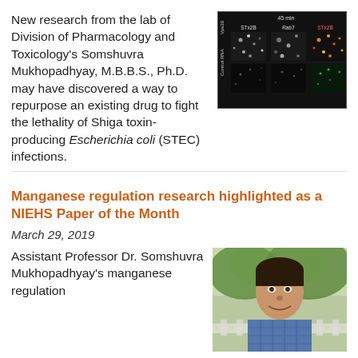New research from the lab of Division of Pharmacology and Toxicology's Somshuvra Mukhopadhyay, M.B.B.S., Ph.D. may have discovered a way to repurpose an existing drug to fight the lethality of Shiga toxin-producing Escherichia coli (STEC) infections.
[Figure (photo): Fluorescence microscopy images showing STx2B, Rab7, and STx2B/Rab7 merged channels at 45 min for Vps39 and Control RNA conditions]
Manganese regulation research highlighted as a NIEHS Paper of the Month
March 29, 2019
Assistant Professor Dr. Somshuvra Mukhopadhyay's manganese regulation research was recently featured by the National Institute of Environmental Health Sciences (NIEHS) as one of its Papers of the Month. The findings may be useful for the treatment for parkinsonism caused by manganese poisoning.
[Figure (photo): Portrait photo of Dr. Somshuvra Mukhopadhyay smiling outdoors with green foliage in background]